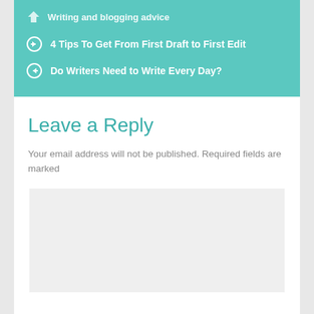Writing and blogging advice
4 Tips To Get From First Draft to First Edit
Do Writers Need to Write Every Day?
Leave a Reply
Your email address will not be published. Required fields are marked
[Figure (other): Empty comment/reply textarea input field with light gray background]